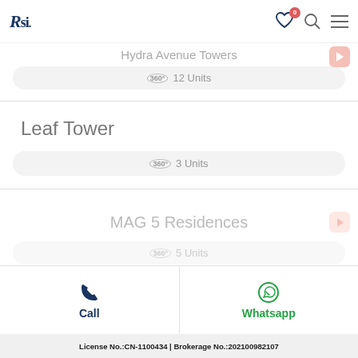RSI. [nav icons: heart with badge 0, search, menu]
Hydra Avenue Towers
360 12 Units
Leaf Tower
360 3 Units
MAG 5 Residences
360 5 Units
Call | Whatsapp
License No.:CN-1100434 | Brokerage No.:202100982107